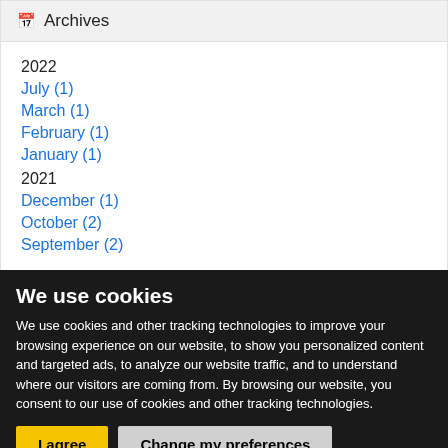Archives
2022
July (1)
March (1)
February (1)
January (1)
2021
December (1)
October (2)
September (2)
We use cookies
We use cookies and other tracking technologies to improve your browsing experience on our website, to show you personalized content and targeted ads, to analyze our website traffic, and to understand where our visitors are coming from. By browsing our website, you consent to our use of cookies and other tracking technologies.
I agree
Change my preferences